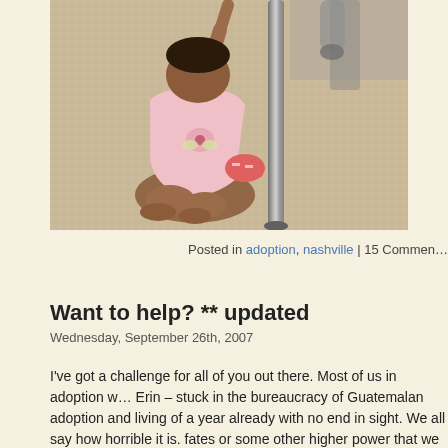[Figure (photo): A young child in a pink dress kneeling on carpet next to a metal pole/stand]
Posted in adoption, nashville | 15 Comments
Want to help? ** updated
Wednesday, September 26th, 2007
I've got a challenge for all of you out there. Most of us in adoption w… Erin – stuck in the bureaucracy of Guatemalan adoption and living of a year already with no end in sight. We all say how horrible it is. fates or some other higher power that we aren't stuck like that. W…